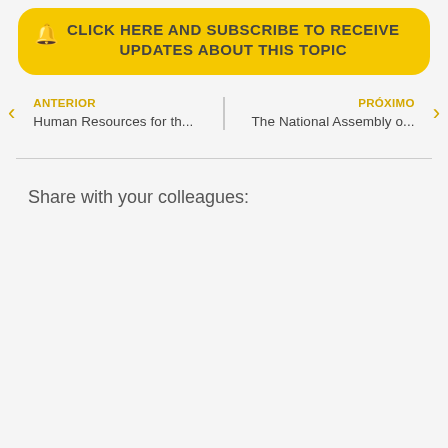CLICK HERE AND SUBSCRIBE TO RECEIVE UPDATES ABOUT THIS TOPIC
ANTERIOR
Human Resources for th...
PRÓXIMO
The National Assembly o...
Share with your colleagues: